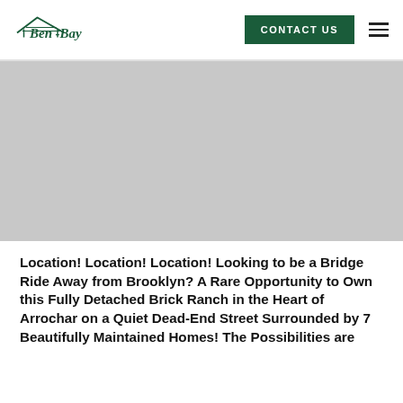Ben-Bay | CONTACT US
[Figure (photo): Property or listing hero image placeholder (gray)]
Location! Location! Location! Looking to be a Bridge Ride Away from Brooklyn? A Rare Opportunity to Own this Fully Detached Brick Ranch in the Heart of Arrochar on a Quiet Dead-End Street Surrounded by 7 Beautifully Maintained Homes! The Possibilities are